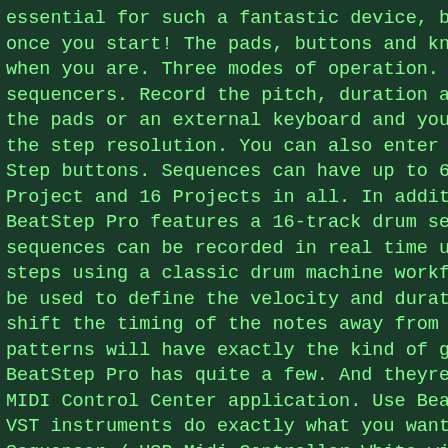essential for such a fantastic device, because it w once you start! The pads, buttons and knobs will al when you are. Three modes of operation. BeatStep Pr sequencers. Record the pitch, duration and velocity the pads or an external keyboard and your sequence w the step resolution. You can also enter notes in st Step buttons. Sequences can have up to 64 steps, wi Project and 16 Projects in all. In addition to the BeatStep Pro features a 16-track drum sequencer. As sequences can be recorded in real time using the pa steps using a classic drum machine workflow; the ch be used to define the velocity and duration of note shift the timing of the notes away from the quantiz patterns will have exactly the kind of groove you w BeatStep Pro has quite a few. And theyre fully cust MIDI Control Center application. Use BeatStep Pro t VST instruments do exactly what you want them to. T Sequencer / USB Midi Controller White with Box and Thursday, April 1, 2021. This item is in the catego